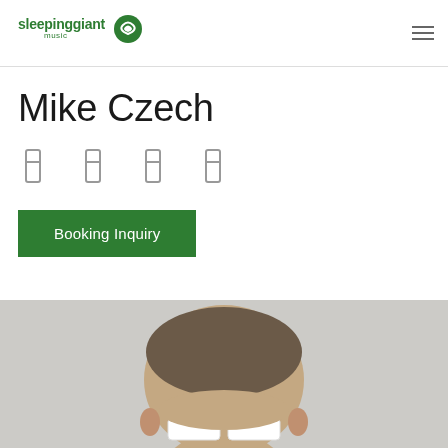[Figure (logo): Sleeping Giant Music logo — green text and circular S icon]
Mike Czech
[Figure (infographic): Four social media icons (Facebook, Twitter/X, Instagram, SoundCloud style) in grey]
Booking Inquiry
[Figure (photo): Photo of Mike Czech, a man with short hair wearing white sunglasses, cropped at top of head, with light grey background]